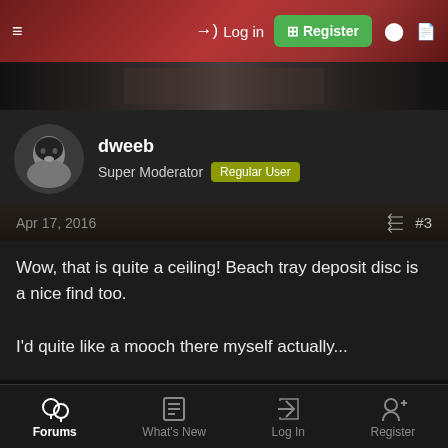Log in  Register
[Figure (screenshot): Dark forum banner strip]
dweeb
Super Moderator  Regular User
Apr 17, 2016  #3
Wow, that is quite a ceiling! Beach tray deposit disc is a nice find too.

I'd quite like a mooch there myself actually...
b3n
onehundredandthirtythree  Regular User
Forums  What's New  Log In  Register